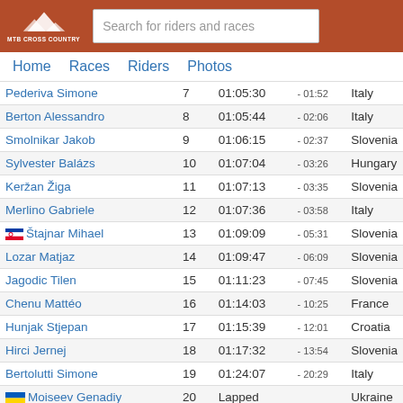MTB CROSS COUNTRY — Search for riders and races
Home  Races  Riders  Photos
| Name | Pos | Time | Gap | Country |
| --- | --- | --- | --- | --- |
| Pederiva Simone | 7 | 01:05:30 | - 01:52 | Italy |
| Berton Alessandro | 8 | 01:05:44 | - 02:06 | Italy |
| Smolnikar Jakob | 9 | 01:06:15 | - 02:37 | Slovenia |
| Sylvester Balázs | 10 | 01:07:04 | - 03:26 | Hungary |
| Keržan Žiga | 11 | 01:07:13 | - 03:35 | Slovenia |
| Merlino Gabriele | 12 | 01:07:36 | - 03:58 | Italy |
| 🇸🇮 Štajnar Mihael | 13 | 01:09:09 | - 05:31 | Slovenia |
| Lozar Matjaz | 14 | 01:09:47 | - 06:09 | Slovenia |
| Jagodic Tilen | 15 | 01:11:23 | - 07:45 | Slovenia |
| Chenu Mattéo | 16 | 01:14:03 | - 10:25 | France |
| Hunjak Stjepan | 17 | 01:15:39 | - 12:01 | Croatia |
| Hirci Jernej | 18 | 01:17:32 | - 13:54 | Slovenia |
| Bertolutti Simone | 19 | 01:24:07 | - 20:29 | Italy |
| 🇺🇦 Moiseev Genadiy | 20 | Lapped |  | Ukraine |
| Mancu Benjamin | 21 | Lapped |  | Slovenia |